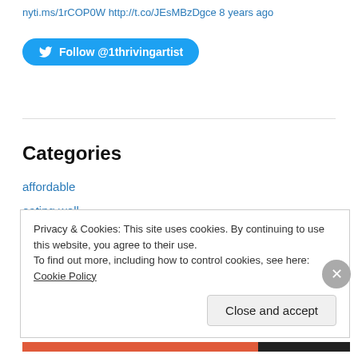nyti.ms/1rCOP0W http://t.co/JEsMBzDgce 8 years ago
Follow @1thrivingartist
Categories
affordable
eating well
fashion
health
Jazz
money
music
Privacy & Cookies: This site uses cookies. By continuing to use this website, you agree to their use.
To find out more, including how to control cookies, see here: Cookie Policy
Close and accept